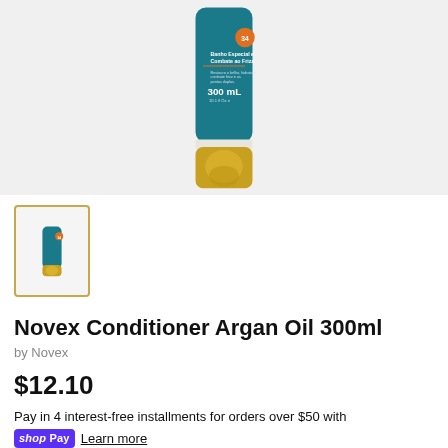[Figure (photo): Novex Argan Oil Conditioner bottle, teal and gold, 300mL, showing 'Banho Especial e Combate ao Frizz' label]
[Figure (photo): Small thumbnail of Novex Argan Oil Conditioner bottle in gold-bordered box]
Novex Conditioner Argan Oil 300ml
by Novex
$12.10
Pay in 4 interest-free installments for orders over $50 with shop Pay Learn more